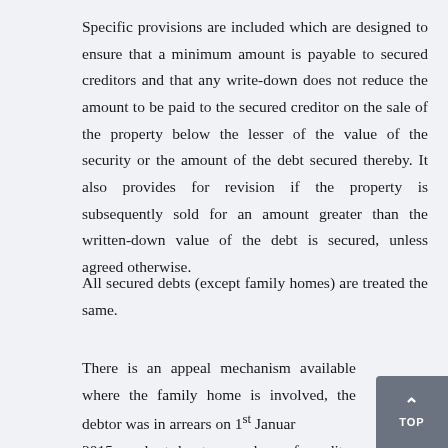Specific provisions are included which are designed to ensure that a minimum amount is payable to secured creditors and that any write-down does not reduce the amount to be paid to the secured creditor on the sale of the property below the lesser of the value of the security or the amount of the debt secured thereby. It also provides for revision if the property is subsequently sold for an amount greater than the written-down value of the debt is secured, unless agreed otherwise.
All secured debts (except family homes) are treated the same.
There is an appeal mechanism available where the family home is involved, the debtor was in arrears on 1st January 2015, and at least one class of creditor voted in favour of